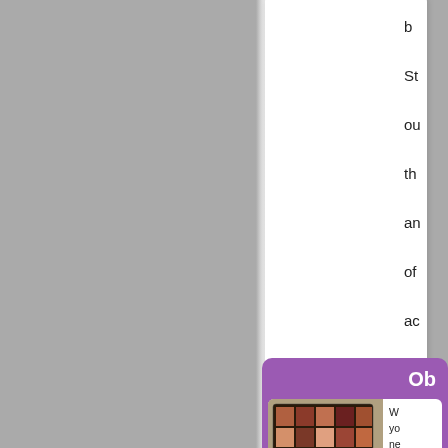[Figure (screenshot): Cropped document page showing a gray background on the left, a white rounded card in the center-right with partial text visible on the far right edge, and a purple-bordered card at the bottom containing an Obereobi Beauty Box product image with a makeup palette and gold circle, alongside partial body text.]
b St ou th an of ac in ou le ne
Ob
W yo ne ar